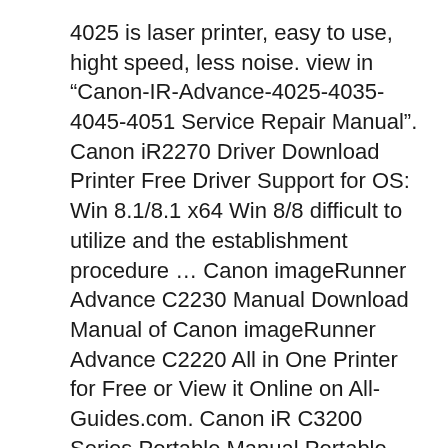4025 is laser printer, easy to use, hight speed, less noise. view in “Canon-IR-Advance-4025-4035-4045-4051 Service Repair Manual”. Canon iR2270 Driver Download Printer Free Driver Support for OS: Win 8.1/8.1 x64 Win 8/8 difficult to utilize and the establishment procedure ... Canon imageRunner Advance C2230 Manual Download Manual of Canon imageRunner Advance C2220 All in One Printer for Free or View it Online on All-Guides.com. Canon iR C3200 Series Portable Manual Portable manual Canon Pixma MP560 Service Manual Service manual (67 pages) Canon iR5075 Easy Operation Manual Easy operation manual (60 pages)